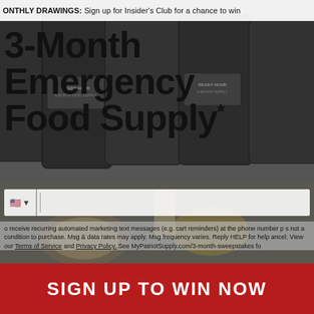ONTHLY DRAWINGS: Sign up for Insider's Club for a chance to win
3-Month Emergency Food Supply*
[Figure (photo): Background photo of Ready Hour emergency food supply buckets/containers stacked, with food items (drinks, plates of food) in the foreground, gray-toned]
o receive recurring automated marketing text messages (e.g. cart reminders) at the phone number p s not a condition to purchase. Msg & data rates may apply. Msg frequency varies. Reply HELP for help ancel. View our Terms of Service and Privacy Policy. See MyPatriotSupply.com/3-month-sweepstakes fo
SIGN UP TO WIN NOW